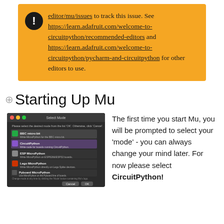editor/mu/issues to track this issue. See https://learn.adafruit.com/welcome-to-circuitpython/recommended-editors and https://learn.adafruit.com/welcome-to-circuitpython/pycharm-and-circuitpython for other editors to use.
Starting Up Mu
[Figure (screenshot): Screenshot of the Mu editor 'Select Mode' dialog on macOS, showing options: BBC micro:bit, CircuitPython, ESP MicroPython, Lego MicroPython, Pyboard MicroPython, with Cancel and OK buttons.]
The first time you start Mu, you will be prompted to select your 'mode' - you can always change your mind later. For now please select CircuitPython!